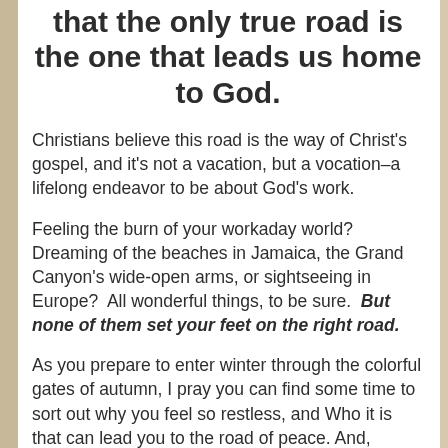that the only true road is the one that leads us home to God.
Christians believe this road is the way of Christ's gospel, and it's not a vacation, but a vocation–a lifelong endeavor to be about God's work.
Feeling the burn of your workaday world? Dreaming of the beaches in Jamaica, the Grand Canyon's wide-open arms, or sightseeing in Europe?  All wonderful things, to be sure.  But none of them set your feet on the right road.
As you prepare to enter winter through the colorful gates of autumn, I pray you can find some time to sort out why you feel so restless, and Who it is that can lead you to the road of peace. And, paddle on,